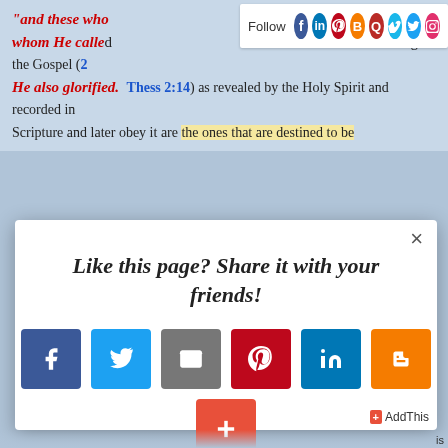"and these who He foreknew, He also predestined... whom He called, He also justified; and those whom He justified, He also glorified." Those who are called through the Gospel (2 Thess 2:14) as revealed by the Holy Spirit and recorded in Scripture and later obey it are the ones that are destined to be
[Figure (screenshot): Follow bar with social media icons: Facebook, LinkedIn, Pinterest, Blogger, Quora, Vimeo, Twitter, Instagram]
[Figure (screenshot): Modal dialog with text 'Like this page? Share it with your friends!' and social share buttons: Facebook, Twitter, Email, Pinterest, LinkedIn, Blogger, plus button. AddThis branding at bottom right.]